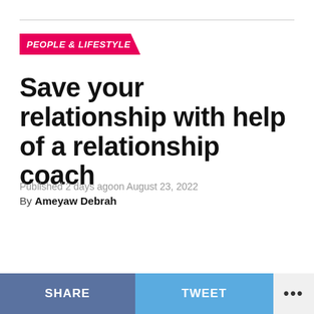PEOPLE & LIFESTYLE
Save your relationship with help of a relationship coach
Published 2 days agoon August 23, 2022
By Ameyaw Debrah
SHARE   TWEET   ...